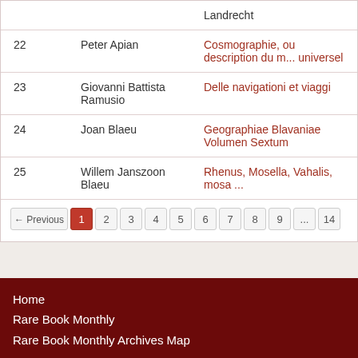| # | Author | Title |
| --- | --- | --- |
|  |  | Landrecht |
| 22 | Peter Apian | Cosmographie, ou description du monde universel |
| 23 | Giovanni Battista Ramusio | Delle navigationi et viaggi |
| 24 | Joan Blaeu | Geographiae Blavaniae Volumen Sextum |
| 25 | Willem Janszoon Blaeu | Rhenus, Mosella, Vahalis, mosa ... |
← Previous  1  2  3  4  5  6  7  8  9  ...  14
Home
Rare Book Monthly
Rare Book Monthly Archives Map